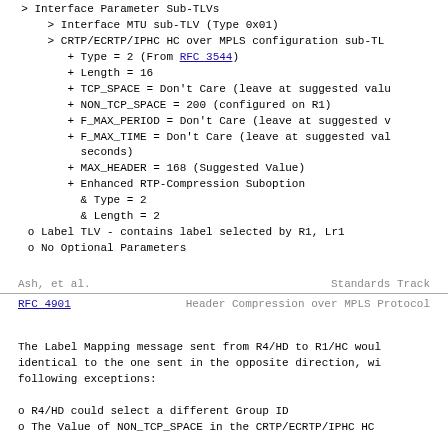> Interface Parameter Sub-TLVs
   > Interface MTU sub-TLV (Type 0x01)
   > CRTP/ECRTP/IPHC HC over MPLS configuration sub-TL
      + Type = 2 (From RFC 3544)
      + Length = 16
      + TCP_SPACE = Don't Care (leave at suggested valu
      + NON_TCP_SPACE = 200 (configured on R1)
      + F_MAX_PERIOD = Don't Care (leave at suggested v
      + F_MAX_TIME = Don't Care (leave at suggested val
        seconds)
      + MAX_HEADER = 168 (Suggested Value)
      + Enhanced RTP-Compression Suboption
        & Type = 2
        & Length = 2
o Label TLV - contains label selected by R1, Lr1
o No Optional Parameters
Ash, et al.                     Standards Track
RFC 4901         Header Compression over MPLS Protocol
The Label Mapping message sent from R4/HD to R1/HC woul
identical to the one sent in the opposite direction, wi
following exceptions:

o R4/HD could select a different Group ID
o The Value of NON_TCP_SPACE in the CRTP/ECRTP/IPHC HC